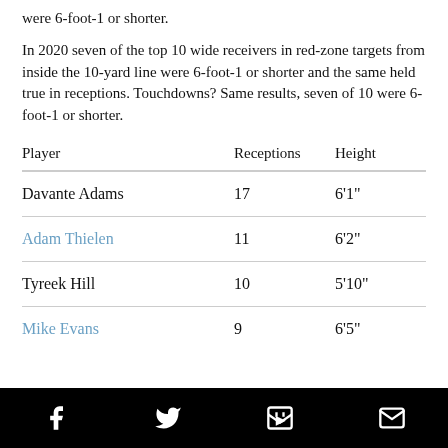were 6-foot-1 or shorter.
In 2020 seven of the top 10 wide receivers in red-zone targets from inside the 10-yard line were 6-foot-1 or shorter and the same held true in receptions. Touchdowns? Same results, seven of 10 were 6-foot-1 or shorter.
| Player | Receptions | Height |
| --- | --- | --- |
| Davante Adams | 17 | 6'1" |
| Adam Thielen | 11 | 6'2" |
| Tyreek Hill | 10 | 5'10" |
| Mike Evans | 9 | 6'5" |
|  |  | 5'10" |
Social share bar: Facebook, Twitter, Flipboard, Email